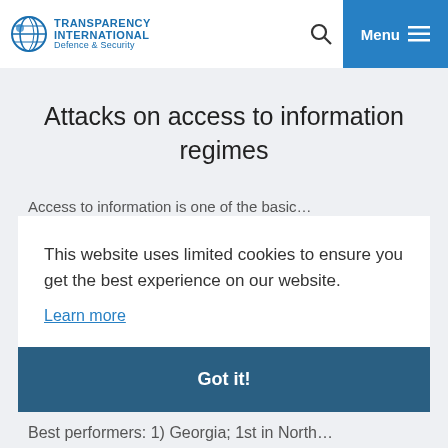Worst performers: 1) Azerbaijan 8/100 (Critical … ary 14/100 (Critical ris…
TRANSPARENCY INTERNATIONAL Defence & Security
Attacks on access to information regimes
Access to information is one of the basic…
This website uses limited cookies to ensure you get the best experience on our website.
Learn more
Got it!
Best performers: 1) Georgia; 1st in North…